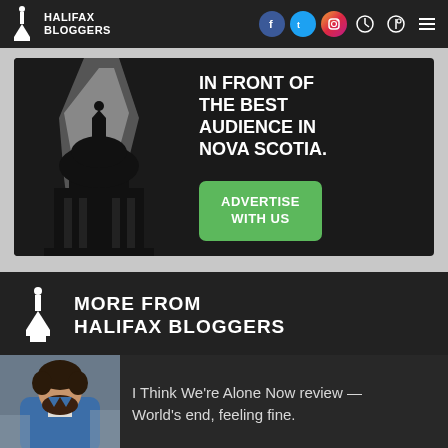HALIFAX BLOGGERS
[Figure (screenshot): Halifax Bloggers website screenshot showing navigation bar with logo, social media icons (Facebook, Twitter, Instagram), clock, search and menu icons]
[Figure (infographic): Advertisement banner on dark background with silhouette of Halifax building/dome and text: IN FRONT OF THE BEST AUDIENCE IN NOVA SCOTIA. with green ADVERTISE WITH US button]
MORE FROM HALIFAX BLOGGERS
I Think We're Alone Now review — World's end, feeling fine.